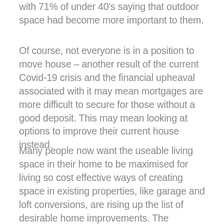with 71% of under 40's saying that outdoor space had become more important to them.
Of course, not everyone is in a position to move house – another result of the current Covid-19 crisis and the financial upheaval associated with it may mean mortgages are more difficult to secure for those without a good deposit. This may mean looking at options to improve their current house instead.
Many people now want the useable living space in their home to be maximised for living so cost effective ways of creating space in existing properties, like garage and loft conversions, are rising up the list of desirable home improvements. The downside to that is what to do with the stuff which you store in those spaces previously